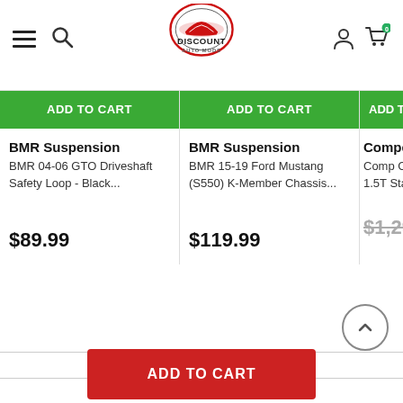Discount Auto Mods - navigation header with hamburger menu, search, logo, account, cart (0)
ADD TO CART
BMR Suspension
BMR 04-06 GTO Driveshaft Safety Loop - Black...
$89.99
ADD TO CART
BMR Suspension
BMR 15-19 Ford Mustang (S550) K-Member Chassis...
$119.99
ADD TO CART (partial)
Competitio...
Comp Cluto... 1.5T Stage ...
$1,299.99 (strikethrough)
[Figure (other): Delivery/shipping truck icon]
ADD TO CART